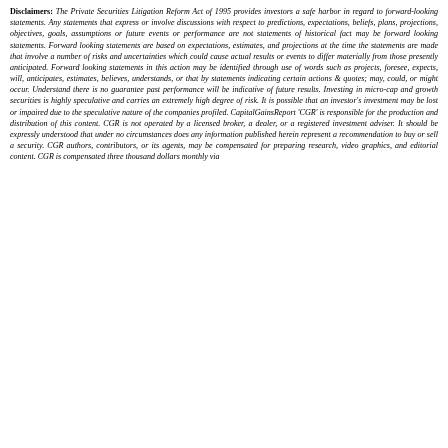Disclaimers: The Private Securities Litigation Reform Act of 1995 provides investors a safe harbor in regard to forward-looking statements. Any statements that express or involve discussions with respect to predictions, expectations, beliefs, plans, projections, objectives, goals, assumptions or future events or performance are not statements of historical fact may be forward looking statements. Forward looking statements are based on expectations, estimates, and projections at the time the statements are made that involve a number of risks and uncertainties which could cause actual results or events to differ materially from those presently anticipated. Forward looking statements in this action may be identified through use of words such as projects, foresee, expects, will, anticipates, estimates, believes, understands, or that by statements indicating certain actions & quotes; may, could, or might occur. Understand there is no guarantee past performance will be indicative of future results. Investing in micro-cap and growth securities is highly speculative and carries an extremely high degree of risk. It is possible that an investor's investment may be lost or impaired due to the speculative nature of the companies profiled. CapitalGainsReport 'CGR' is responsible for the production and distribution of this content. CGR is not operated by a licensed broker, a dealer, or a registered investment adviser. It should be expressly understood that under no circumstances does any information published herein represent a recommendation to buy or sell a security. CGR authors, contributors, or its agents, may be compensated for preparing research, video graphics, and editorial content. CGR is compensated three thousand dollars monthly via